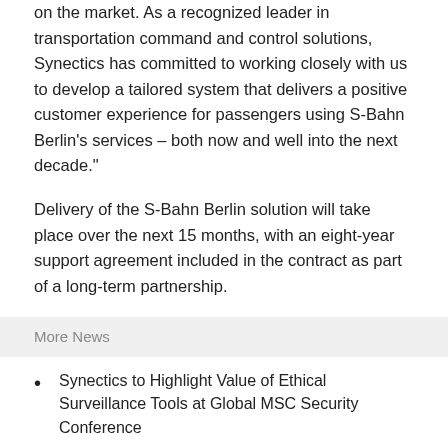on the market. As a recognized leader in transportation command and control solutions, Synectics has committed to working closely with us to develop a tailored system that delivers a positive customer experience for passengers using S-Bahn Berlin's services – both now and well into the next decade."
Delivery of the S-Bahn Berlin solution will take place over the next 15 months, with an eight-year support agreement included in the contract as part of a long-term partnership.
More News
Synectics to Highlight Value of Ethical Surveillance Tools at Global MSC Security Conference
Synectics to Highlight Flexible Technologies at Coach & Bus UK 2019